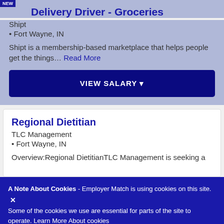Delivery Driver - Groceries
Shipt
• Fort Wayne, IN
Shipt is a membership-based marketplace that helps people get the things... Read More
VIEW SALARY
Regional Dietitian
TLC Management
• Fort Wayne, IN
Overview:Regional DietitianTLC Management is seeking a
A Note About Cookies - Employer Match is using cookies on this site. Some of the cookies we use are essential for parts of the site to operate. Learn More About cookies
Interim Director of Nursing - Fort